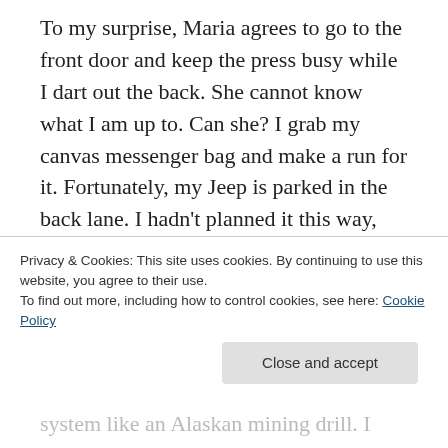To my surprise, Maria agrees to go to the front door and keep the press busy while I dart out the back. She cannot know what I am up to. Can she? I grab my canvas messenger bag and make a run for it. Fortunately, my Jeep is parked in the back lane. I hadn't planned it this way, but now time is probably short. I check my texts. 'Guinness tastes better in the afternoon,' says the one I am looking for. It is time to get started.
My next step is to find the locations where I am to
Privacy & Cookies: This site uses cookies. By continuing to use this website, you agree to their use.
To find out more, including how to control cookies, see here: Cookie Policy
system like an Alaskan mining drill. I have the